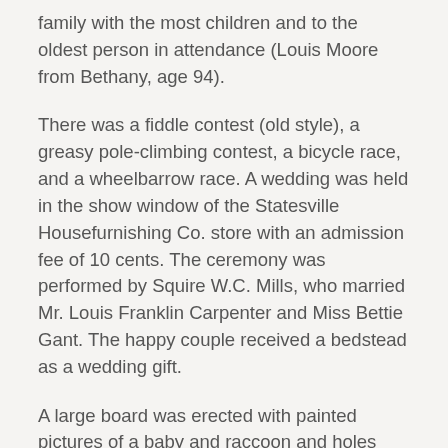family with the most children and to the oldest person in attendance (Louis Moore from Bethany, age 94).
There was a fiddle contest (old style), a greasy pole-climbing contest, a bicycle race, and a wheelbarrow race. A wedding was held in the show window of the Statesville Housefurnishing Co. store with an admission fee of 10 cents. The ceremony was performed by Squire W.C. Mills, who married Mr. Louis Franklin Carpenter and Miss Bettie Gant. The happy couple received a bedstead as a wedding gift.
A large board was erected with painted pictures of a baby and raccoon and holes where their heads should have been.  People would stick their heads through the holes and other people would pay to throw at their heads. Mr. J.S. Fry won, but was disqualified for having previous practice. He had bet policeman J.N. Morgan that he could hit his head from a certain distance with a rock the day before. Morgan was game, but Fry missed and instead hit a